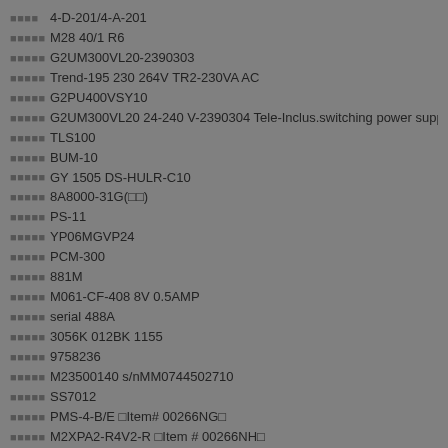4-D-201/4-A-201
M28 40/1 R6
G2UM300VL20-2390303
Trend-195 230 264V TR2-230VA AC
G2PU400VSY10
G2UM300VL20 24-240 V-2390304 Tele-Inclus.switching power supply
TLS100
BUM-10
GY 1505 DS-HULR-C10
8A8000-31G(□□)
PS-11
YP06MGVP24
PCM-300
881M
M061-CF-408 8V 0.5AMP
serial 488A
3056K 012BK 1155
9758236
M23500140 s/nMM0744502710
SS7012
PMS-4-B/E □Item# 00266NG□
M2XPA2-R4V2-R □Item # 00266NH□